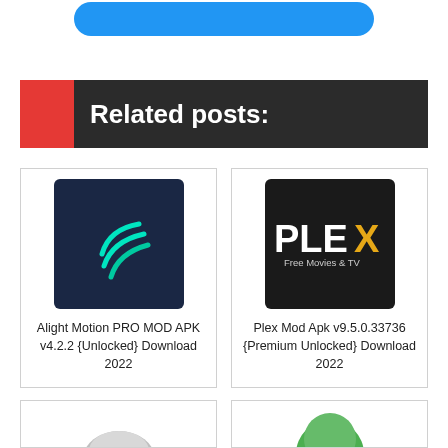[Figure (other): Blue rounded button at top]
Related posts:
[Figure (logo): Alight Motion app icon - dark blue background with teal arc/wave logo]
Alight Motion PRO MOD APK v4.2.2 {Unlocked} Download 2022
[Figure (logo): Plex app icon - black background with PLEX text in white and orange, Free Movies & TV subtitle]
Plex Mod Apk v9.5.0.33736 {Premium Unlocked} Download 2022
[Figure (other): Partially visible app icon at bottom left - silver/grey rounded shape]
[Figure (other): Partially visible app icon at bottom right - green circular shape]